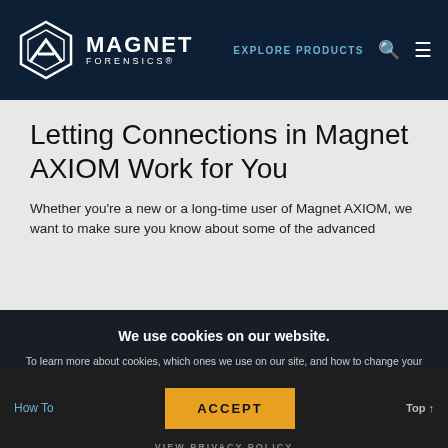[Figure (logo): Magnet Forensics logo with hexagonal M icon and company name in white on dark navy navigation bar]
Letting Connections in Magnet AXIOM Work for You
Whether you're a new or a long-time user of Magnet AXIOM, we want to make sure you know about some of the advanced
We use cookies on our website.
To learn more about cookies, which ones we use on our site, and how to change your cookie settings, please view our Privacy Policy*. By continuing to use this site without changing your settings, you consent to our use of cookies in accordance with the Privacy Policy.*
VIEW PRIVACY POLICY
How To
ACCEPT
Top ↑